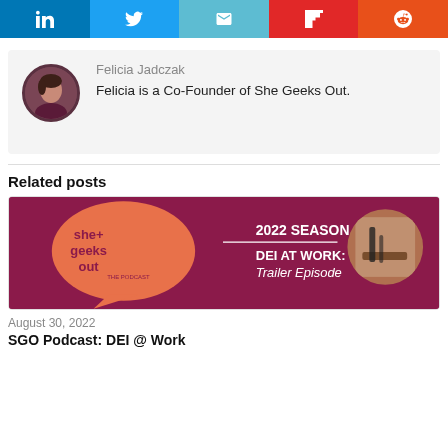[Figure (other): Social share buttons row: LinkedIn (blue), Twitter (light blue), Email (cyan), Flipboard (red), Reddit (orange-red)]
Felicia Jadczak
Felicia is a Co-Founder of She Geeks Out.
Related posts
[Figure (photo): She+ Geeks Out The Podcast banner image. Magenta/crimson background with orange speech bubble logo reading 'she+ geeks out THE PODCAST'. Text: 2022 SEASON — DEI AT WORK: Trailer Episode. Circular photo of desk with notebook on right side.]
August 30, 2022
SGO Podcast: DEI @ Work